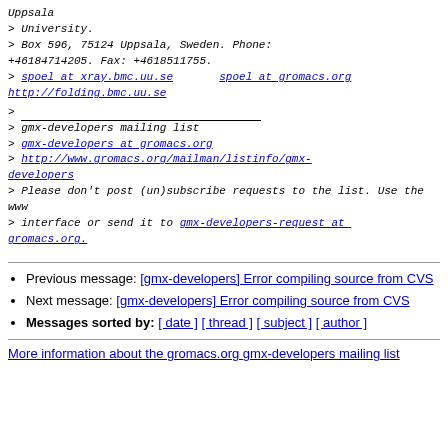> Uppsala
> University.
> Box 596, 75124 Uppsala, Sweden. Phone: +46184714205. Fax: +4618511755.
> spoel at xray.bmc.uu.se    spoel at gromacs.org
http://folding.bmc.uu.se
>
> gmx-developers mailing list
> gmx-developers at gromacs.org
> http://www.gromacs.org/mailman/listinfo/gmx-developers
> Please don't post (un)subscribe requests to the list. Use the www
> interface or send it to gmx-developers-request at gromacs.org.
Previous message: [gmx-developers] Error compiling source from CVS
Next message: [gmx-developers] Error compiling source from CVS
Messages sorted by: [ date ] [ thread ] [ subject ] [ author ]
More information about the gromacs.org  gmx-developers mailing list